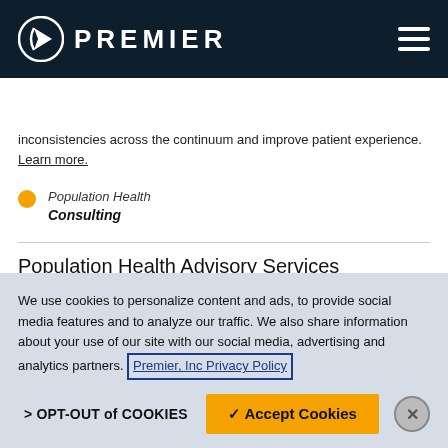PREMIER
Filters (6)
inconsistencies across the continuum and improve patient experience. Learn more.
Population Health
Consulting
Population Health Advisory Services
Strategic guidance for VBC. Succeed in VBC with financial
We use cookies to personalize content and ads, to provide social media features and to analyze our traffic. We also share information about your use of our site with our social media, advertising and analytics partners. Premier, Inc Privacy Policy
> OPT-OUT of COOKIES
✓ Accept Cookies